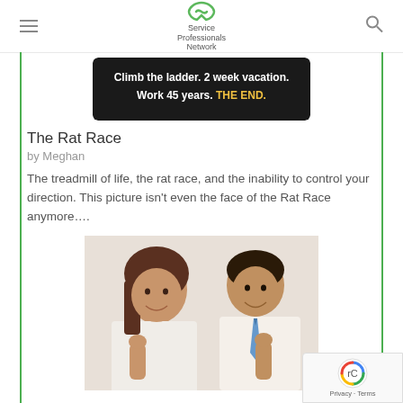Service Professionals Network
[Figure (screenshot): Black banner image with white text: 'Climb the ladder. 2 week vacation. Work 45 years.' and golden text 'THE END.']
The Rat Race
by Meghan
The treadmill of life, the rat race, and the inability to control your direction. This picture isn't even the face of the Rat Race anymore….
[Figure (photo): Two smiling Asian business professionals giving thumbs up, woman on left and man on right wearing a blue tie]